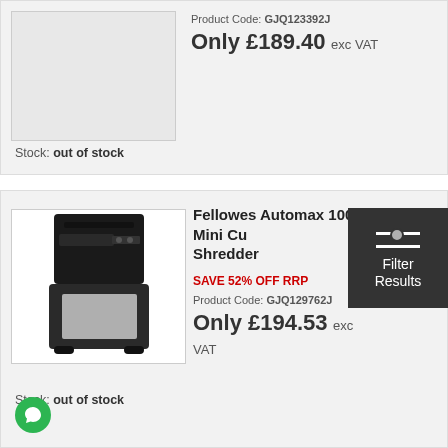Product Code: GJQ123392J
Only £189.40 exc VAT
Stock: out of stock
[Figure (photo): Fellowes paper shredder product image (top product, partially visible)]
[Figure (photo): Fellowes Automax 100M Mini Cut Shredder product image - black paper shredder]
Fellowes Automax 100M Mini Cu Shredder
SAVE 52% OFF RRP
Product Code: GJQ129762J
Only £194.53 exc VAT
Stock: out of stock